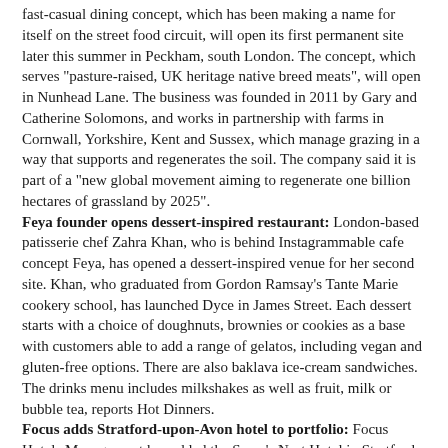fast-casual dining concept, which has been making a name for itself on the street food circuit, will open its first permanent site later this summer in Peckham, south London. The concept, which serves "pasture-raised, UK heritage native breed meats", will open in Nunhead Lane. The business was founded in 2011 by Gary and Catherine Solomons, and works in partnership with farms in Cornwall, Yorkshire, Kent and Sussex, which manage grazing in a way that supports and regenerates the soil. The company said it is part of a "new global movement aiming to regenerate one billion hectares of grassland by 2025".
Feya founder opens dessert-inspired restaurant: London-based patisserie chef Zahra Khan, who is behind Instagrammable cafe concept Feya, has opened a dessert-inspired venue for her second site. Khan, who graduated from Gordon Ramsay's Tante Marie cookery school, has launched Dyce in James Street. Each dessert starts with a choice of doughnuts, brownies or cookies as a base with customers able to add a range of gelatos, including vegan and gluten-free options. There are also baklava ice-cream sandwiches. The drinks menu includes milkshakes as well as fruit, milk or bubble tea, reports Hot Dinners.
Focus adds Stratford-upon-Avon hotel to portfolio: Focus Hotels Management has added the Swan's Nest Hotel in Stratford-upon-Avon to its portfolio of managed sites across the UK. The 72-bedroom Georgian hotel overlooks the River Avon. The property was one of the earliest brick houses in the town, built around 1673. The house has been used as an